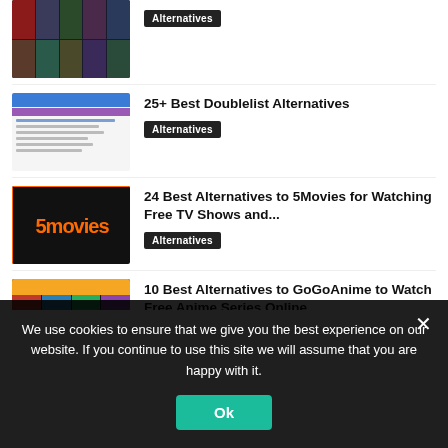[Figure (screenshot): Thumbnail of a movies list website showing a dark grid of movie posters]
Alternatives
[Figure (screenshot): Thumbnail of Doublelist website showing a blue and purple header with text lines]
25+ Best Doublelist Alternatives
Alternatives
[Figure (screenshot): Thumbnail of 5movies website with orange text on dark background]
24 Best Alternatives to 5Movies for Watching Free TV Shows and...
Alternatives
[Figure (screenshot): Thumbnail of GoGoAnime website showing yellow header and anime thumbnails grid]
10 Best Alternatives to GoGoAnime to Watch Free Anime Series Online
Alternatives
We use cookies to ensure that we give you the best experience on our website. If you continue to use this site we will assume that you are happy with it.